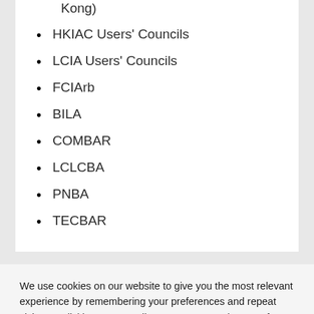Kong)
HKIAC Users' Councils
LCIA Users' Councils
FCIArb
BILA
COMBAR
LCLCBA
PNBA
TECBAR
We use cookies on our website to give you the most relevant experience by remembering your preferences and repeat visits. By clicking “Accept All”, you consent to the use of ALL the cookies. However, you may visit "Cookie Settings" to provide a controlled consent.
Cookie Settings | Accept All